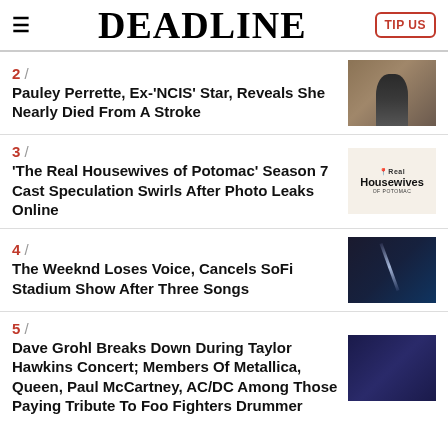DEADLINE
2 / Pauley Perrette, Ex-'NCIS' Star, Reveals She Nearly Died From A Stroke
3 / 'The Real Housewives of Potomac' Season 7 Cast Speculation Swirls After Photo Leaks Online
4 / The Weeknd Loses Voice, Cancels SoFi Stadium Show After Three Songs
5 / Dave Grohl Breaks Down During Taylor Hawkins Concert; Members Of Metallica, Queen, Paul McCartney, AC/DC Among Those Paying Tribute To Foo Fighters Drummer